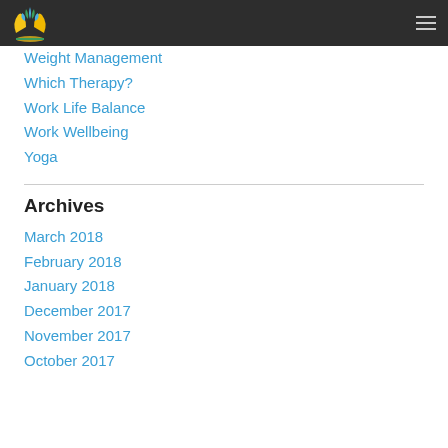Navigation bar with logo and hamburger menu
Weight Management
Which Therapy?
Work Life Balance
Work Wellbeing
Yoga
Archives
March 2018
February 2018
January 2018
December 2017
November 2017
October 2017